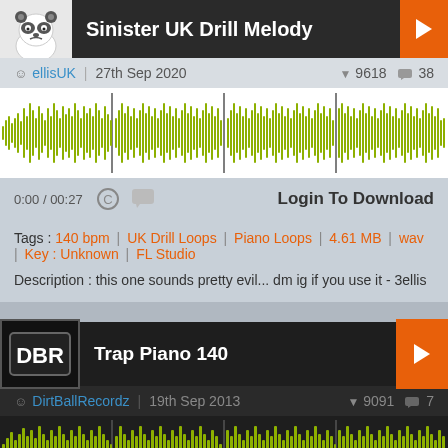Sinister UK Drill Melody
ellisUK | 27th Sep 2020  9618  38
[Figure (other): Audio waveform visualization for Sinister UK Drill Melody, olive/yellow-green color on white background]
0:00 / 00:27  Login To Download
Tags : 140 bpm | UK Drill Loops | Piano Loops | 4.61 MB | wav | Key : Unknown | FL Studio
Description : this one sounds pretty evil... dm ig if you use it - 3ellis
Trap Piano 140
DirtBallRecordz | 19th Sep 2013  9091  7
[Figure (other): Audio waveform visualization for Trap Piano 140, olive/yellow-green color on dark background]